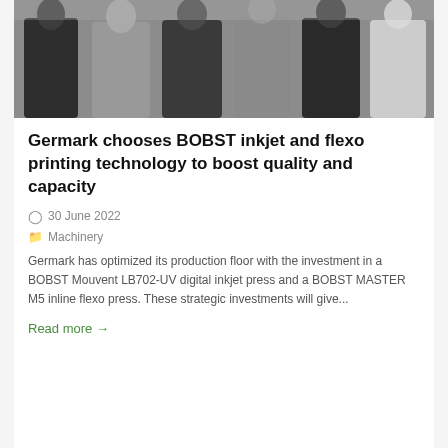[Figure (photo): Group of people standing together, photo cropped to show torsos and lower bodies, taken indoors]
Germark chooses BOBST inkjet and flexo printing technology to boost quality and capacity
30 June 2022
Machinery
Germark has optimized its production floor with the investment in a BOBST Mouvent LB702-UV digital inkjet press and a BOBST MASTER M5 inline flexo press. These strategic investments will give...
Read more →